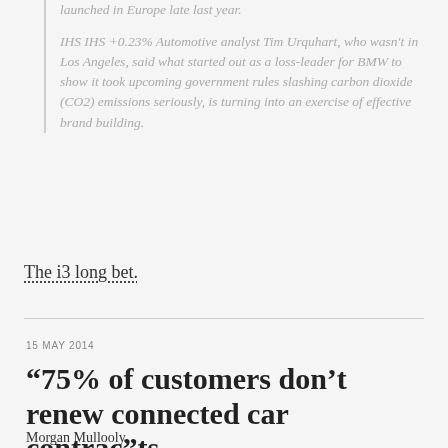launched in Europe late last year.
IHS IHS +0.23% Automotive analyst Tim Urquhart, who wasn't in Los Angeles, said what started out as a loss-leader for BMW to show it took upcoming government rules slashing carbon dioxide (CO2) emissions seriously, is turning into an exercise of effective brand building.
The i3 long bet.
15 MAY 2014
“75% of customers don’t renew connected car contrac”ts
Morgan Mullooly